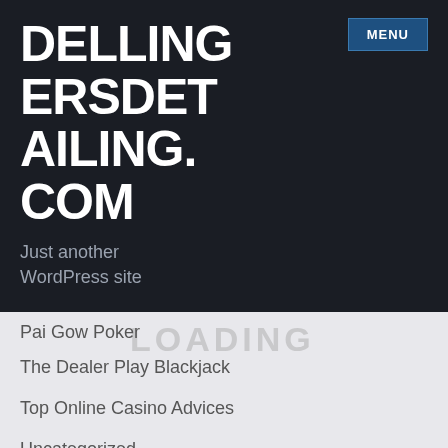DELLINGERSDETAILING.COM
Just another WordPress site
Pai Gow Poker
The Dealer Play Blackjack
Top Online Casino Advices
Uncategorized
What Is The Gambling
META
Log In